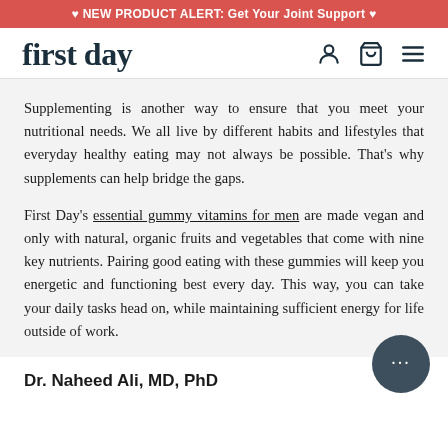♥ NEW PRODUCT ALERT: Get Your Joint Support ♥
[Figure (logo): First Day logo with navigation icons (user, cart, hamburger menu)]
Supplementing is another way to ensure that you meet your nutritional needs. We all live by different habits and lifestyles that everyday healthy eating may not always be possible. That's why supplements can help bridge the gaps.
First Day's essential gummy vitamins for men are made vegan and only with natural, organic fruits and vegetables that come with nine key nutrients. Pairing good eating with these gummies will keep you energetic and functioning best every day. This way, you can take your daily tasks head on, while maintaining sufficient energy for life outside of work.
Dr. Naheed Ali, MD, PhD